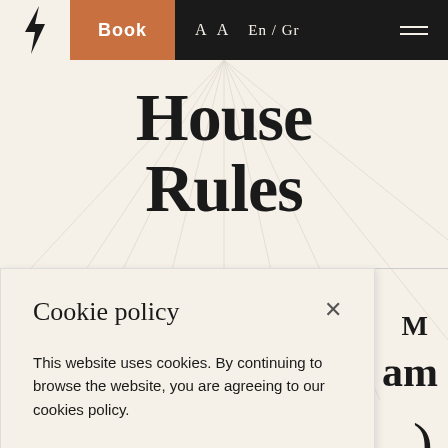Book  A A  En / Gr
House Rules
Cookie policy
This website uses cookies. By continuing to browse the website, you are agreeing to our cookies policy.
I agree